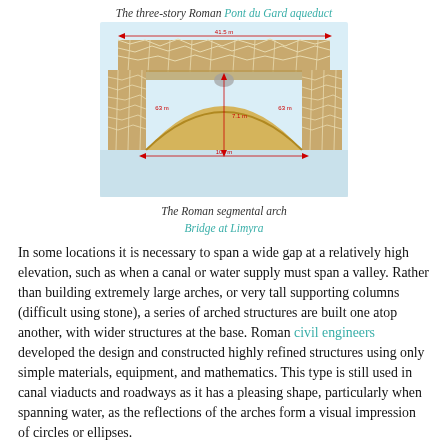The three-story Roman Pont du Gard aqueduct
[Figure (illustration): Illustration of the Roman segmental arch bridge at Limyra, showing the arch structure with stone masonry and dimensional annotations in red.]
The Roman segmental arch Bridge at Limyra
In some locations it is necessary to span a wide gap at a relatively high elevation, such as when a canal or water supply must span a valley. Rather than building extremely large arches, or very tall supporting columns (difficult using stone), a series of arched structures are built one atop another, with wider structures at the base. Roman civil engineers developed the design and constructed highly refined structures using only simple materials, equipment, and mathematics. This type is still used in canal viaducts and roadways as it has a pleasing shape, particularly when spanning water, as the reflections of the arches form a visual impression of circles or ellipses.